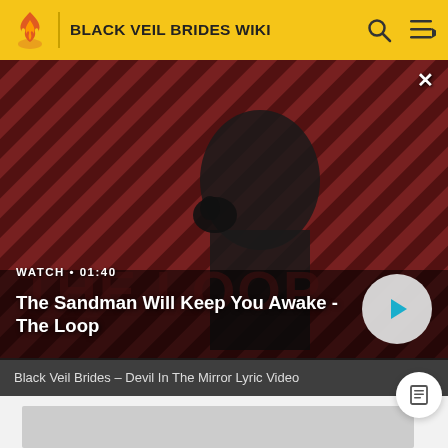BLACK VEIL BRIDES WIKI
[Figure (screenshot): Video thumbnail showing a person in dark clothing with a bird on their shoulder against a red diagonal-striped background. Text overlay: WATCH • 01:40. Title: The Sandman Will Keep You Awake - The Loop. Play button visible on the right.]
Black Veil Brides – Devil In The Mirror Lyric Video
[Figure (other): Grey placeholder rectangle for an image or video content area]